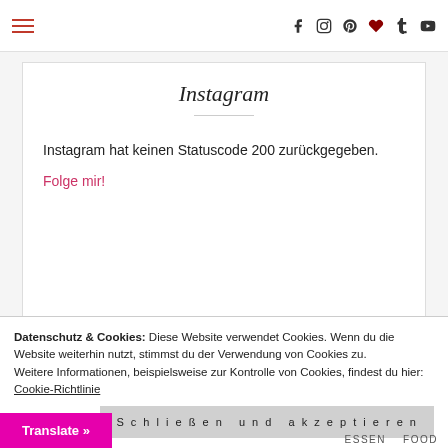Navigation header with hamburger menu and social icons: f (Facebook), Instagram, Pinterest, heart/bookmark, t (Tumblr), YouTube
Instagram
Instagram hat keinen Statuscode 200 zurückgegeben.
Folge mir!
Datenschutz & Cookies: Diese Website verwendet Cookies. Wenn du die Website weiterhin nutzt, stimmst du der Verwendung von Cookies zu.
Weitere Informationen, beispielsweise zur Kontrolle von Cookies, findest du hier: Cookie-Richtlinie
Schließen und akzeptieren
Translate »